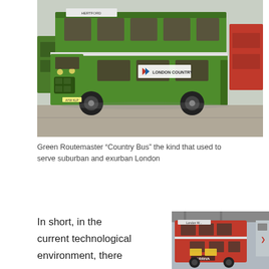[Figure (photo): Green Routemaster double-decker bus with 'London Country' branding, parked in a bus depot. A red bus is visible on the right side.]
Green Routemaster “Country Bus” the kind that used to serve suburban and exurban London
In short, in the current technological environment, there
[Figure (photo): Red double-decker London bus (Arriva) at a busy bus station with overhead structures visible.]